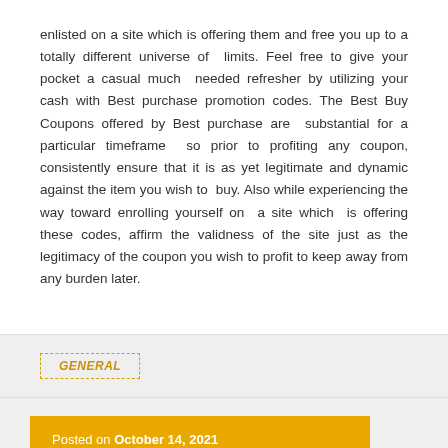enlisted on a site which is offering them and free you up to a totally different universe of limits. Feel free to give your pocket a casual much needed refresher by utilizing your cash with Best purchase promotion codes. The Best Buy Coupons offered by Best purchase are substantial for a particular timeframe so prior to profiting any coupon, consistently ensure that it is as yet legitimate and dynamic against the item you wish to buy. Also while experiencing the way toward enrolling yourself on a site which is offering these codes, affirm the validness of the site just as the legitimacy of the coupon you wish to profit to keep away from any burden later.
GENERAL
Posted on October 14, 2021